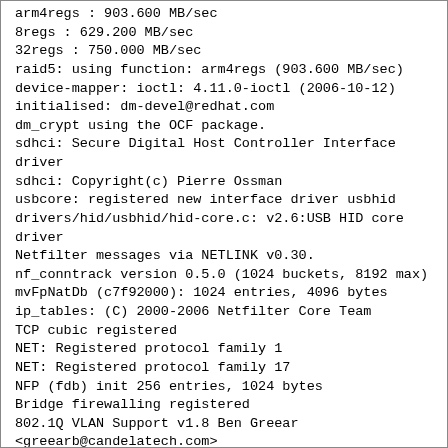arm4regs : 903.600 MB/sec
8regs : 629.200 MB/sec
32regs : 750.000 MB/sec
raid5: using function: arm4regs (903.600 MB/sec)
device-mapper: ioctl: 4.11.0-ioctl (2006-10-12) initialised: dm-devel@redhat.com
dm_crypt using the OCF package.
sdhci: Secure Digital Host Controller Interface driver
sdhci: Copyright(c) Pierre Ossman
usbcore: registered new interface driver usbhid
drivers/hid/usbhid/hid-core.c: v2.6:USB HID core driver
Netfilter messages via NETLINK v0.30.
nf_conntrack version 0.5.0 (1024 buckets, 8192 max)
mvFpNatDb (c7f92000): 1024 entries, 4096 bytes
ip_tables: (C) 2000-2006 Netfilter Core Team
TCP cubic registered
NET: Registered protocol family 1
NET: Registered protocol family 17
NFP (fdb) init 256 entries, 1024 bytes
Bridge firewalling registered
802.1Q VLAN Support v1.8 Ben Greear
<greearb@candelatech.com>
All bugs added by David S. Miller <davem@redhat.com>
md: Autodetecting RAID arrays.
md: autorun ...
md: considering sda1 ...
md: adding sda1 ...
md: created md0
md: bind<sda1>
md: running: <sda1>
raid1: raid set md0 active with 1 out of 2 mirrors